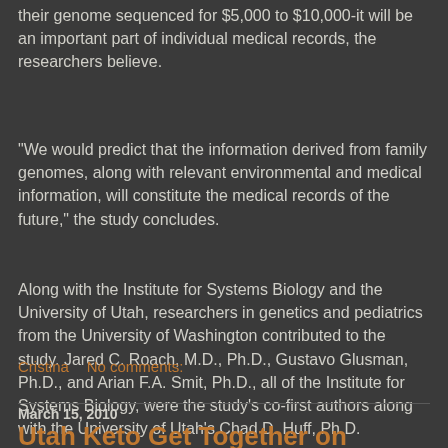their genome sequenced for $5,000 to $10,000-it will be an important part of individual medical records, the researchers believe.
"We would predict that the information derived from family genomes, along with relevant environmental and medical information, will constitute the medical records of the future," the study concludes.
Along with the Institute for Systems Biology and the University of Utah, researchers in genetics and pediatrics from the University of Washington contributed to the study. Jared C. Roach, M.D., Ph.D., Gustavo Glusman, Ph.D., and Arian F.A. Smit, Ph.D., all of the Institute for Systems Biology, were the study's co-first authors along with the University of Utah's Chad D. Huff, Ph.D.
Cristina    No comments:
March 15, 2010
Utah Keto Get Together on March 27th!